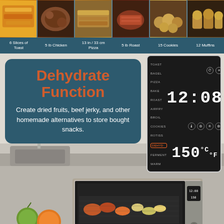[Figure (photo): Six food photos in a horizontal strip: French toast/pancakes, chicken, pizza/sandwich, roast beef, cookies, muffins]
6 Slices of Toast | 5 lb Chicken | 13 in / 33 cm Pizza | 5 lb Roast | 15 Cookies | 12 Muffins
[Figure (photo): Kitchen background with sink and countertop, toaster oven open showing food on air fry basket, green apple and orange in foreground]
Dehydrate Function
Create dried fruits, beef jerky, and other homemade alternatives to store bought snacks.
[Figure (photo): Digital control panel display showing 12:00 time, mode list including TOAST, BAGEL, PIZZA, BAKE, ROAST, AIRFRY, BROIL, COOKIES, ROTISS, DEHYD (highlighted), FERMENT, WARM, and temperature 150°F]